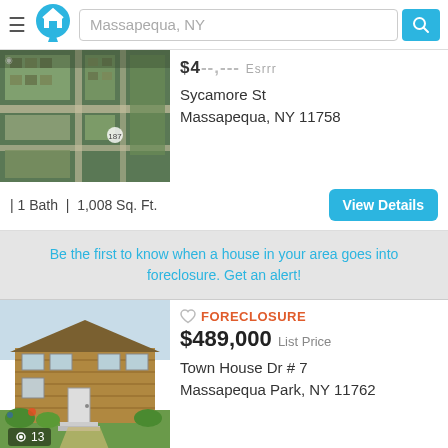Massapequa, NY
[Figure (photo): Aerial satellite view of neighborhood in Massapequa, NY]
$4--,--- Esrrr
Sycamore St
Massapequa, NY 11758
| 1 Bath | 1,008 Sq. Ft.
View Details
Be the first to know when a house in your area goes into foreclosure. Get an alert!
[Figure (photo): Front exterior photo of a townhouse at Town House Dr #7, Massapequa Park, NY. Brown siding, two-story, with front lawn and walkway.]
FORECLOSURE
$489,000 List Price
Town House Dr # 7
Massapequa Park, NY 11762
3 Bed | 2 Bath | 1,224 Sq. Ft.
View Details